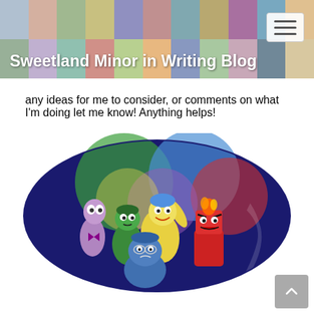Sweetland Minor in Writing Blog
any ideas for me to consider, or comments on what I'm doing let me know! Anything helps!
[Figure (illustration): Inside Out movie promotional image showing animated emotion characters (Fear, Disgust, Joy, Anger, Sadness) against a circular background with colorful overlapping circles on a dark blue/purple background]